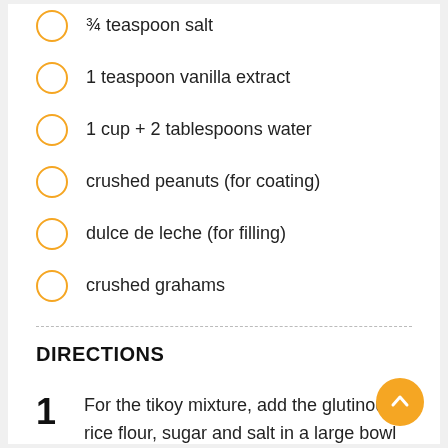¾ teaspoon salt
1 teaspoon vanilla extract
1 cup + 2 tablespoons water
crushed peanuts (for coating)
dulce de leche (for filling)
crushed grahams
DIRECTIONS
For the tikoy mixture, add the glutinous rice flour, sugar and salt in a large bowl and mix well. Add some water and mix well until there are no lumps. Add the vanilla